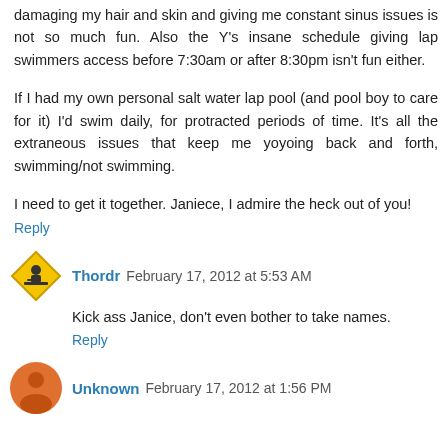damaging my hair and skin and giving me constant sinus issues is not so much fun. Also the Y's insane schedule giving lap swimmers access before 7:30am or after 8:30pm isn't fun either.
If I had my own personal salt water lap pool (and pool boy to care for it) I'd swim daily, for protracted periods of time. It's all the extraneous issues that keep me yoyoing back and forth, swimming/not swimming.
I need to get it together. Janiece, I admire the heck out of you!
Reply
Thordr   February 17, 2012 at 5:53 AM
Kick ass Janice, don't even bother to take names.
Reply
Unknown   February 17, 2012 at 1:56 PM